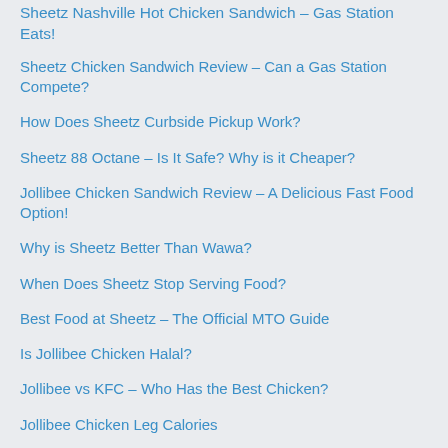Sheetz Nashville Hot Chicken Sandwich – Gas Station Eats!
Sheetz Chicken Sandwich Review – Can a Gas Station Compete?
How Does Sheetz Curbside Pickup Work?
Sheetz 88 Octane – Is It Safe? Why is it Cheaper?
Jollibee Chicken Sandwich Review – A Delicious Fast Food Option!
Why is Sheetz Better Than Wawa?
When Does Sheetz Stop Serving Food?
Best Food at Sheetz – The Official MTO Guide
Is Jollibee Chicken Halal?
Jollibee vs KFC – Who Has the Best Chicken?
Jollibee Chicken Leg Calories
How to Reheat Jollibee Chicken
Does Jollibee Have Chicken Tenders?
McGangBang Sandwich – McDonald's Menu Hack